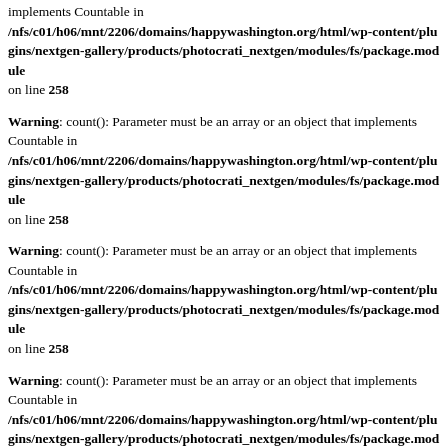implements Countable in /nfs/c01/h06/mnt/2206/domains/happywashington.org/html/wp-content/plugins/nextgen-gallery/products/photocrati_nextgen/modules/fs/package.module on line 258
Warning: count(): Parameter must be an array or an object that implements Countable in /nfs/c01/h06/mnt/2206/domains/happywashington.org/html/wp-content/plugins/nextgen-gallery/products/photocrati_nextgen/modules/fs/package.module on line 258
Warning: count(): Parameter must be an array or an object that implements Countable in /nfs/c01/h06/mnt/2206/domains/happywashington.org/html/wp-content/plugins/nextgen-gallery/products/photocrati_nextgen/modules/fs/package.module on line 258
Warning: count(): Parameter must be an array or an object that implements Countable in /nfs/c01/h06/mnt/2206/domains/happywashington.org/html/wp-content/plugins/nextgen-gallery/products/photocrati_nextgen/modules/fs/package.module